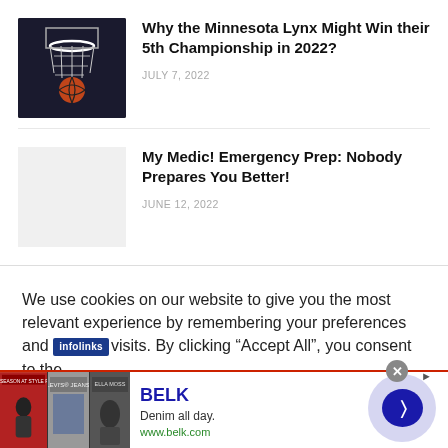[Figure (photo): Basketball going through a hoop, dark background]
Why the Minnesota Lynx Might Win their 5th Championship in 2022?
JULY 7, 2022
[Figure (photo): Placeholder image (light gray)]
My Medic! Emergency Prep: Nobody Prepares You Better!
JUNE 12, 2022
We use cookies on our website to give you the most relevant experience by remembering your preferences and visits. By clicking “Accept All”, you consent to the
[Figure (advertisement): Infolinks ad banner: BELK, Denim all day, www.belk.com, with navigation circle button]